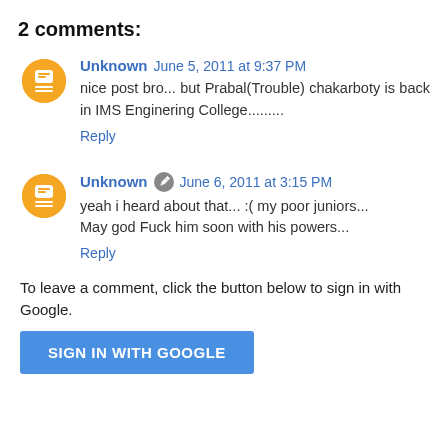2 comments:
Unknown  June 5, 2011 at 9:37 PM
nice post bro... but Prabal(Trouble) chakarboty is back in IMS Enginering College.........
Reply
Unknown  June 6, 2011 at 3:15 PM
yeah i heard about that... :( my poor juniors...
May god Fuck him soon with his powers...
Reply
To leave a comment, click the button below to sign in with Google.
SIGN IN WITH GOOGLE